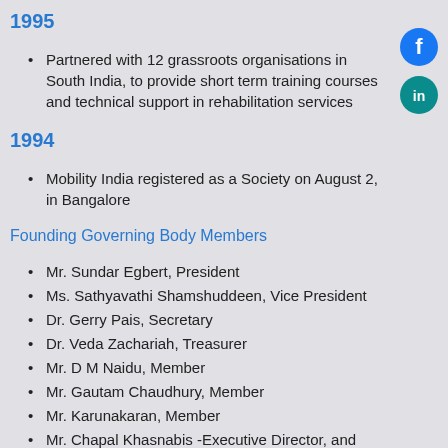1995
Partnered with 12 grassroots organisations in South India, to provide short term training courses and technical support in rehabilitation services
1994
Mobility India registered as a Society on August 2, in Bangalore
Founding Governing Body Members
Mr. Sundar Egbert, President
Ms. Sathyavathi Shamshuddeen, Vice President
Dr. Gerry Pais, Secretary
Dr. Veda Zachariah, Treasurer
Mr. D M Naidu, Member
Mr. Gautam Chaudhury, Member
Mr. Karunakaran, Member
Mr. Chapal Khasnabis -Executive Director, and
[Figure (logo): Facebook and LinkedIn social media icons]